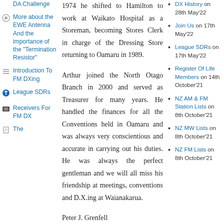DA Challenge
More about the EWE Antenna And the importance of the "Termination Resistor"
Introduction To FM DXing
League SDRs
Receivers For FM DX
The
1974 he shifted to Hamilton to work at Waikato Hospital as a Storeman, becoming Stores Clerk in charge of the Dressing Store returning to Oamaru in 1989.
Arthur joined the North Otago Branch in 2000 and served as Treasurer for many years. He handled the finances for all the Conventions held in Oamaru and was always very conscientious and accurate in carrying out his duties. He was always the perfect gentleman and we will all miss his friendship at meetings, conventions and D.X.ing at Waianakarua.
Peter J. Grenfell
DX History on 28th May'22
Join Us on 17th May'22
League SDRs on 17th May'22
Register Of Life Members on 14th October'21
NZ AM & FM Station Lists on 8th October'21
NZ MW Lists on 8th October'21
NZ FM Lists on 8th October'21